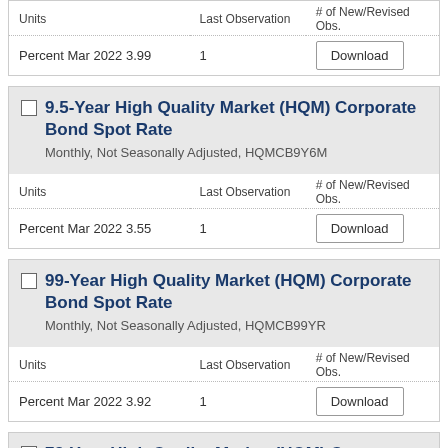| Units | Last Observation | # of New/Revised Obs. |
| --- | --- | --- |
| Percent Mar 2022 3.99 | 1 | Download |
9.5-Year High Quality Market (HQM) Corporate Bond Spot Rate
Monthly, Not Seasonally Adjusted, HQMCB9Y6M
| Units | Last Observation | # of New/Revised Obs. |
| --- | --- | --- |
| Percent Mar 2022 3.55 | 1 | Download |
99-Year High Quality Market (HQM) Corporate Bond Spot Rate
Monthly, Not Seasonally Adjusted, HQMCB99YR
| Units | Last Observation | # of New/Revised Obs. |
| --- | --- | --- |
| Percent Mar 2022 3.92 | 1 | Download |
73-Year High Quality Market (HQM) Corporate Bond Spot Rate